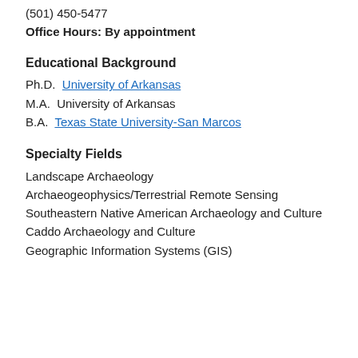(501) 450-5477
Office Hours: By appointment
Educational Background
Ph.D. University of Arkansas
M.A. University of Arkansas
B.A. Texas State University-San Marcos
Specialty Fields
Landscape Archaeology
Archaeogeophysics/Terrestrial Remote Sensing
Southeastern Native American Archaeology and Culture
Caddo Archaeology and Culture
Geographic Information Systems (GIS)